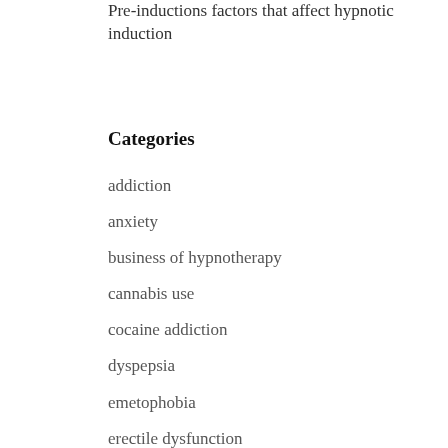Pre-inductions factors that affect hypnotic induction
Categories
addiction
anxiety
business of hypnotherapy
cannabis use
cocaine addiction
dyspepsia
emetophobia
erectile dysfunction
goals
hypnosis